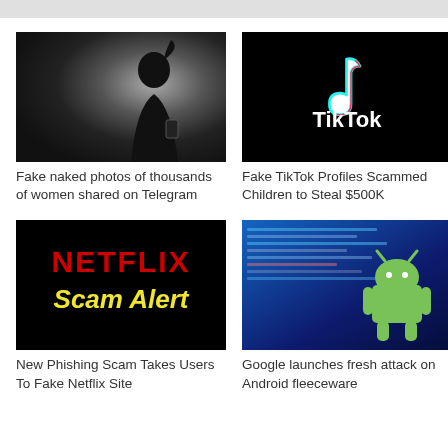[Figure (photo): Silhouette of a person with ponytail looking at a phone against a bright background]
Fake naked photos of thousands of women shared on Telegram
[Figure (photo): TikTok app logo on a black smartphone screen with white TikTok text]
Fake TikTok Profiles Scammed Children to Steal $500K
[Figure (photo): Black background with red NETFLIX text and yellow italic Scam Alert text]
New Phishing Scam Takes Users To Fake Netflix Site
[Figure (photo): Green Android robot figurine in front of a laptop screen showing code/text]
Google launches fresh attack on Android fleeceware